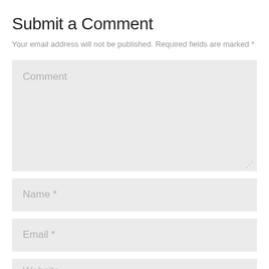Submit a Comment
Your email address will not be published. Required fields are marked *
[Figure (screenshot): Comment text area input field with placeholder text 'Comment' and resize handle]
[Figure (screenshot): Name input field with placeholder text 'Name *']
[Figure (screenshot): Email input field with placeholder text 'Email *']
[Figure (screenshot): Website input field with placeholder text 'Website' (partially visible)]